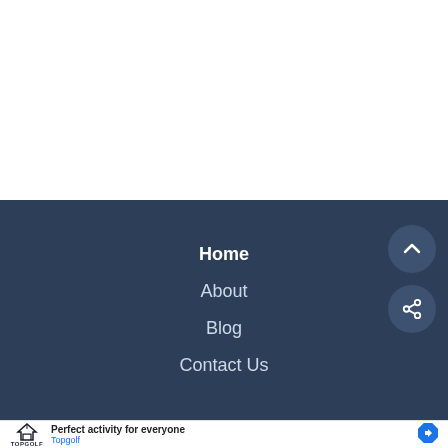Home
About
Blog
Contact Us
[Figure (other): Scroll-to-top circular button with upward chevron arrow, dark blue]
[Figure (other): Share circular button with share icon, dark blue]
[Figure (other): Topgolf advertisement banner with logo, text 'Perfect activity for everyone', brand name 'Topgolf', and a direction arrow icon]